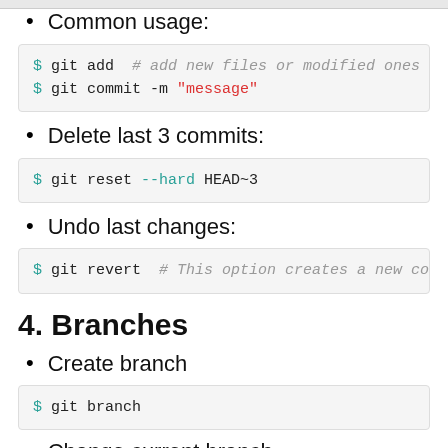Common usage:
$ git add  # add new files or modified ones to be co
$ git commit -m "message"
Delete last 3 commits:
$ git reset --hard HEAD~3
Undo last changes:
$ git revert  # This option creates a new commit wit
4. Branches
Create branch
$ git branch
Change current branch